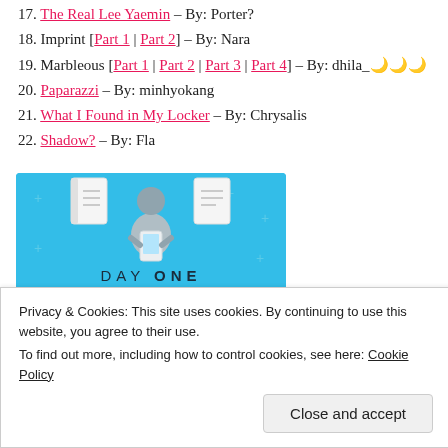17. The Real Lee Yaemin – By: Porter?
18. Imprint [Part 1 | Part 2] – By: Nara
19. Marbleous [Part 1 | Part 2 | Part 3 | Part 4] – By: dhila_🌙🌙🌙
20. Paparazzi – By: minhyokang
21. What I Found in My Locker – By: Chrysalis
22. Shadow? – By: Fla
[Figure (illustration): Day One journaling app advertisement banner with blue background, cartoon person holding a phone, text 'DAY ONE', 'The only journaling app you'll ever need.', and a 'Get the app' button.]
Privacy & Cookies: This site uses cookies. By continuing to use this website, you agree to their use.
To find out more, including how to control cookies, see here: Cookie Policy
Close and accept